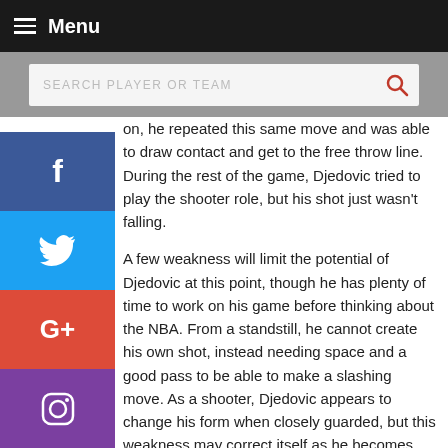Menu
SEARCH PLAYER OR TEAM
on, he repeated this same move and was able to draw contact and get to the free throw line. During the rest of the game, Djedovic tried to play the shooter role, but his shot just wasn't falling.
A few weakness will limit the potential of Djedovic at this point, though he has plenty of time to work on his game before thinking about the NBA. From a standstill, he cannot create his own shot, instead needing space and a good pass to be able to make a slashing move. As a shooter, Djedovic appears to change his form when closely guarded, but this weakness may correct itself as he becomes more accustomed to playing against athletic players in real game situations. Defense also limits the upside of